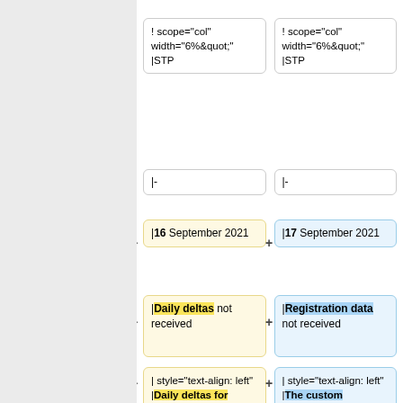! scope="col" width="6%&quot;" |STP
|-
|16 September 2021
|17 September 2021
|Daily deltas not received
|Registration data not received
| style="text-align: left" |Daily deltas for SSIS05 have not been received since 14/09/2021. This has been reported to EMIS for
| style="text-align: left" |The custom registration data file from EMIS has not been received since 14/07/2021. This has been